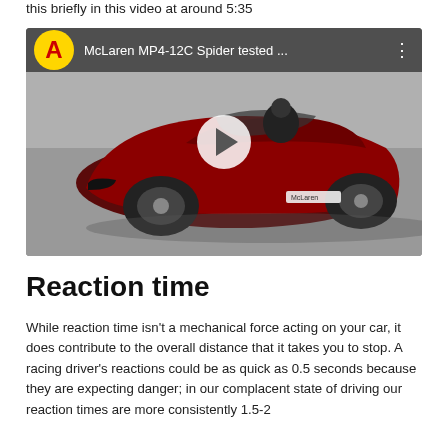this briefly in this video at around 5:35
[Figure (screenshot): YouTube video thumbnail showing a red McLaren MP4-12C Spider car being driven, with YouTube channel logo (yellow circle with red 'A') and title 'McLaren MP4-12C Spider tested ...' in the top bar, and a play button overlay in the center.]
Reaction time
While reaction time isn't a mechanical force acting on your car, it does contribute to the overall distance that it takes you to stop. A racing driver's reactions could be as quick as 0.5 seconds because they are expecting danger; in our complacent state of driving our reaction times are more consistently 1.5-2